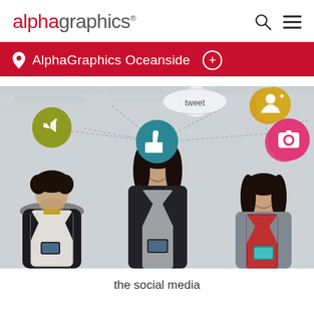[Figure (logo): AlphaGraphics logo — 'alpha' in red, 'graphics' in gray with registered trademark symbol]
AlphaGraphics Oceanside
[Figure (photo): Three young people standing against a stone wall, each looking down at their smartphones, with colorful social media icons (thumbs up/like, tweet, add friend, SMS, camera, megaphone, download) connected by dashed lines floating above them]
the social media